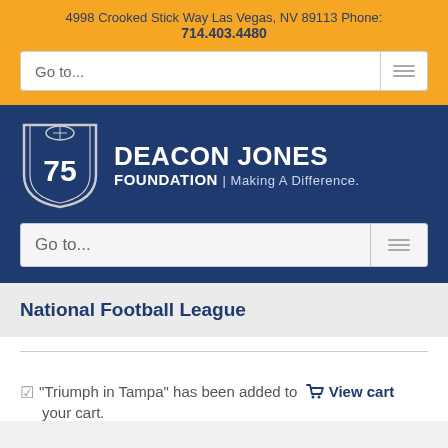4998 Crooked Stick Way Las Vegas, NV 89113 Phone: 714.403.4480
[Figure (logo): Deacon Jones Foundation logo with shield showing number 75 and text DEACON JONES FOUNDATION | Making A Difference.]
National Football League
"Triumph in Tampa" has been added to  View cart  your cart.